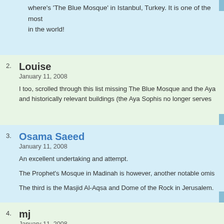where's 'The Blue Mosque' in Istanbul, Turkey. It is one of the most... in the world!
2. Louise
January 11, 2008

I too, scrolled through this list missing The Blue Mosque and the Aya... and historically relevant buildings (the Aya Sophis no longer serves...
3. Osama Saeed
January 11, 2008

An excellent undertaking and attempt.

The Prophet's Mosque in Madinah is however, another notable omis...

The third is the Masjid Al-Aqsa and Dome of the Rock in Jerusalem.
4. mj
January 11, 2008

##3 should I qualify...